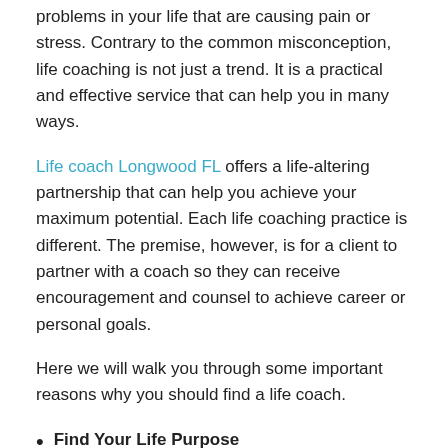problems in your life that are causing pain or stress. Contrary to the common misconception, life coaching is not just a trend. It is a practical and effective service that can help you in many ways.
Life coach Longwood FL offers a life-altering partnership that can help you achieve your maximum potential. Each life coaching practice is different. The premise, however, is for a client to partner with a coach so they can receive encouragement and counsel to achieve career or personal goals.
Here we will walk you through some important reasons why you should find a life coach.
Find Your Life Purpose